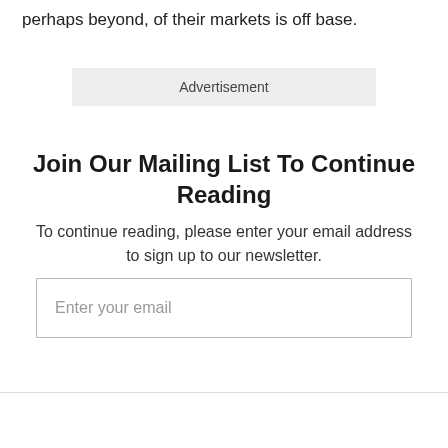perhaps beyond, of their markets is off base.
[Figure (other): Advertisement placeholder box with grey background]
Join Our Mailing List To Continue Reading
To continue reading, please enter your email address to sign up to our newsletter.
Enter your email